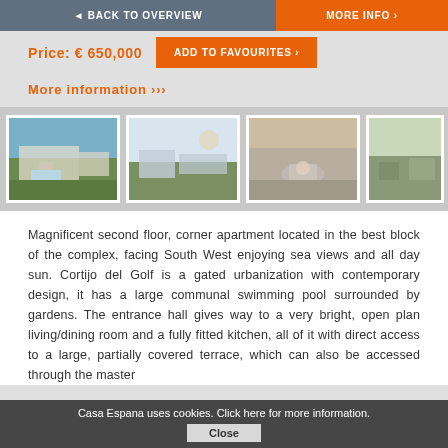◄ BACK TO OVERVIEW   MORE INFO ›
Price: € 650,000
ADD TO FAVOURITES ›
More information ›››
[Figure (photo): Aerial view of apartment complex with swimming pool and gardens]
[Figure (photo): View of buildings with sea/sky in background]
[Figure (photo): Rooftop terrace area with seating and fire pit]
[Figure (photo): Partial view of outdoor area (cropped)]
Magnificent second floor, corner apartment located in the best block of the complex, facing South West enjoying sea views and all day sun. Cortijo del Golf is a gated urbanization with contemporary design, it has a large communal swimming pool surrounded by gardens. The entrance hall gives way to a very bright, open plan living/dining room and a fully fitted kitchen, all of it with direct access to a large, partially covered terrace, which can also be accessed through the master
Casa Espana uses cookies. Click here for more information.
Close